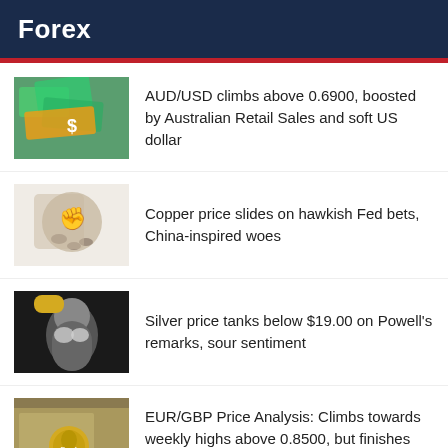Forex
AUD/USD climbs above 0.6900, boosted by Australian Retail Sales and soft US dollar
Copper price slides on hawkish Fed bets, China-inspired woes
Silver price tanks below $19.00 on Powell's remarks, sour sentiment
EUR/GBP Price Analysis: Climbs towards weekly highs above 0.8500, but finishes around 0.8480s